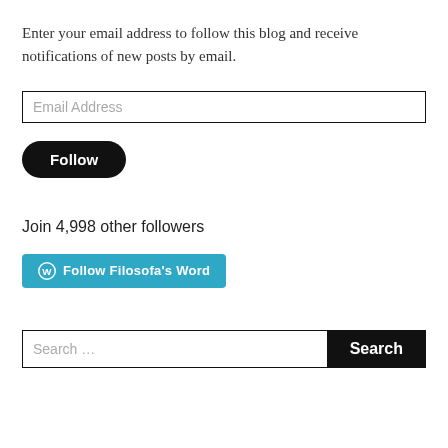Enter your email address to follow this blog and receive notifications of new posts by email.
Email Address
Follow
Join 4,998 other followers
Follow Filosofa's Word
Search ...
Search